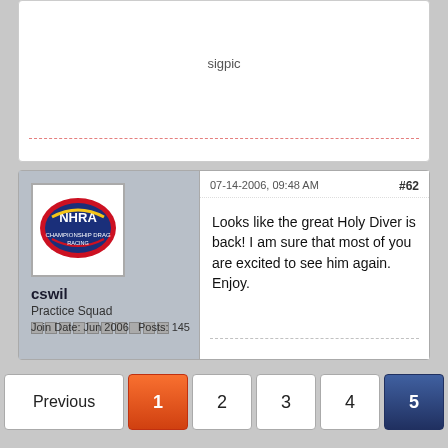sigpic
[Figure (logo): NHRA Championship Drag Racing logo — oval with red border, blue background, white NHRA text]
cswil
Practice Squad
Join Date: Jun 2006    Posts: 145
07-14-2006, 09:48 AM
#62
Looks like the great Holy Diver is back! I am sure that most of you are excited to see him again. Enjoy.
Previous  1  2  3  4  5